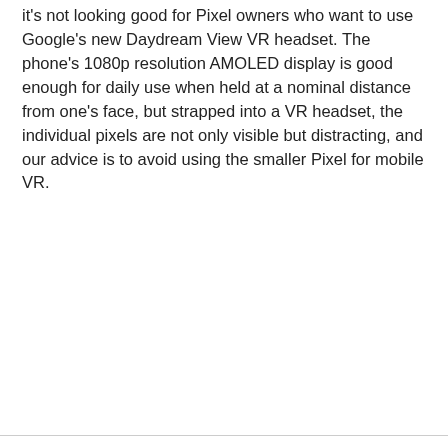it's not looking good for Pixel owners who want to use Google's new Daydream View VR headset. The phone's 1080p resolution AMOLED display is good enough for daily use when held at a nominal distance from one's face, but strapped into a VR headset, the individual pixels are not only visible but distracting, and our advice is to avoid using the smaller Pixel for mobile VR.
[Figure (other): Advertisement placeholder box with light gray background and 'Advertisement' label at top center]